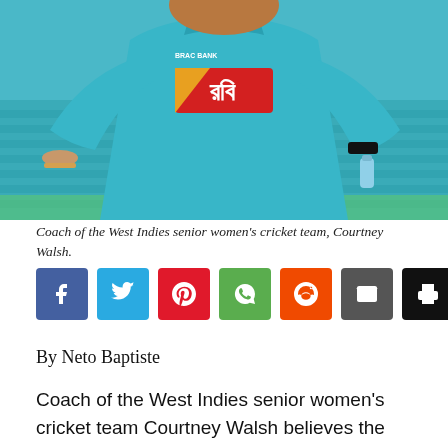[Figure (photo): A person wearing a teal/blue Bangladesh cricket jersey with 'রবি' sponsor logo, running or jogging on a cricket ground. The jersey also shows 'BRAC BANK' text. The person is wearing a black wristband and holding a water bottle.]
Coach of the West Indies senior women's cricket team, Courtney Walsh.
[Figure (other): Social media sharing buttons row: Facebook (blue), Twitter (light blue), Pinterest (red), WhatsApp (green), Reddit (orange), Email (dark gray), Print (black)]
By Neto Baptiste
Coach of the West Indies senior women's cricket team Courtney Walsh believes the return of the domestic competition this year and a push to introduce the game at the schools level across the Caribbean, are key factors in